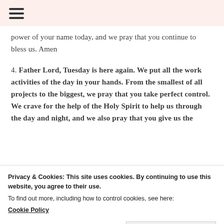≡
power of your name today, and we pray that you continue to bless us. Amen
4. Father Lord, Tuesday is here again. We put all the work activities of the day in your hands. From the smallest of all projects to the biggest, we pray that you take perfect control. We crave for the help of the Holy Spirit to help us through the day and night, and we also pray that you give us the
Privacy & Cookies: This site uses cookies. By continuing to use this website, you agree to their use.
To find out more, including how to control cookies, see here:
Cookie Policy
Close and accept